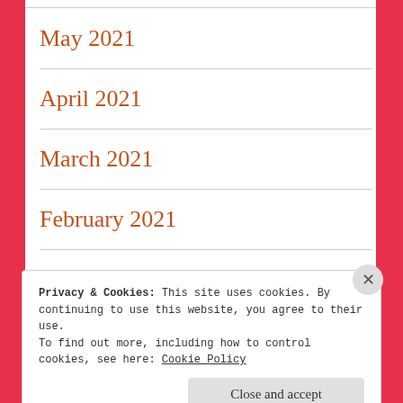May 2021
April 2021
March 2021
February 2021
January 2021
Privacy & Cookies: This site uses cookies. By continuing to use this website, you agree to their use.
To find out more, including how to control cookies, see here: Cookie Policy
Close and accept